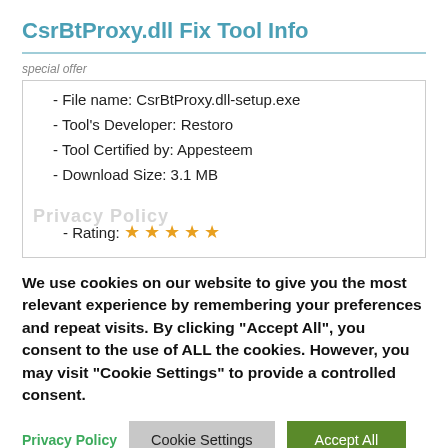CsrBtProxy.dll Fix Tool Info
special offer
- File name: CsrBtProxy.dll-setup.exe
- Tool's Developer: Restoro
- Tool Certified by: Appesteem
- Download Size: 3.1 MB
- Rating: ★ ★ ★ ★ ★
We use cookies on our website to give you the most relevant experience by remembering your preferences and repeat visits. By clicking "Accept All", you consent to the use of ALL the cookies. However, you may visit "Cookie Settings" to provide a controlled consent.
Privacy Policy | Cookie Settings | Accept All